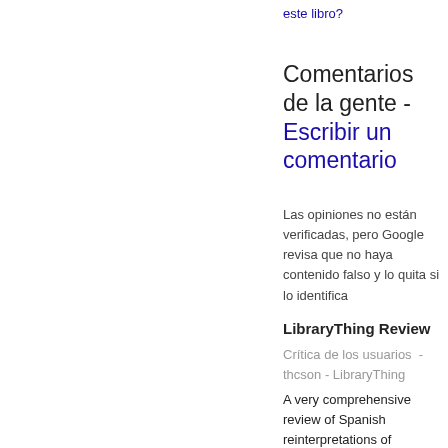este libro?
Comentarios de la gente - Escribir un comentario
Las opiniones no están verificadas, pero Google revisa que no haya contenido falso y lo quita si lo identifica
LibraryThing Review
Crítica de los usuarios  - thcson - LibraryThing
A very comprehensive review of Spanish reinterpretations of antiquity in light of new world experiences. Conquistadors thought that their encounters...